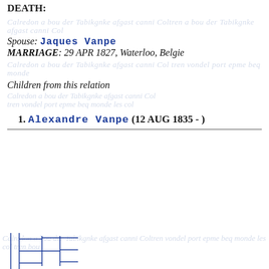DEATH:
Spouse: Jaques Vanpe
MARRIAGE: 29 APR 1827, Waterloo, Belgie
Children from this relation
1. Alexandre Vanpe (12 AUG 1835 - )
[Figure (other): Genealogical family tree diagram showing branching lines representing ancestry relationships, rendered in blue lines on a background of faded handwritten text watermark.]